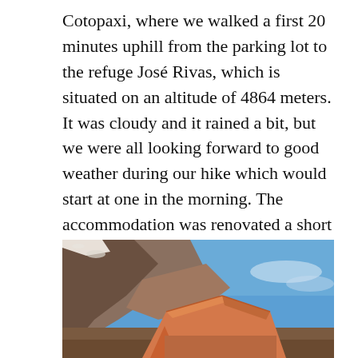Cotopaxi, where we walked a first 20 minutes uphill from the parking lot to the refuge José Rivas, which is situated on an altitude of 4864 meters. It was cloudy and it rained a bit, but we were all looking forward to good weather during our hike which would start at one in the morning. The accommodation was renovated a short time ago, offered heaps of space and had 3 big bedrooms containing three floor bunks. Even flat Oled Lights were used to alight the rooms.
[Figure (photo): Photograph of Cotopaxi volcano refuge José Rivas showing the orange angular rooftop structure against a rocky volcanic slope and blue sky background]